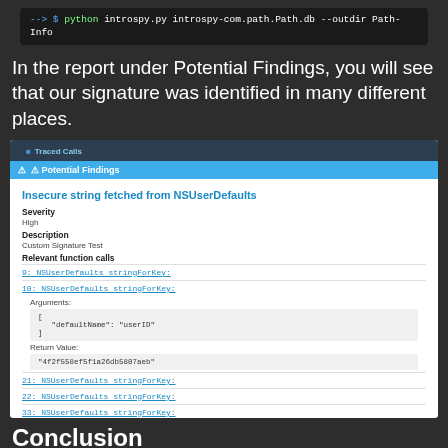[Figure (screenshot): Terminal command: python introspy.py introspy-com.path.Path.db --outdir Path-Info]
In the report under Potential Findings, you will see that our signature was identified in many different places.
[Figure (screenshot): Introspy report panel showing Potential Findings section with 'Insecure string fetched from NSUserDefaults' finding, severity High, description Custom Signature Test, relevant function calls including NSUserDefaults stringForKey at lines 9, 10, 21, 22, 33, 34, 50.]
Conclusion